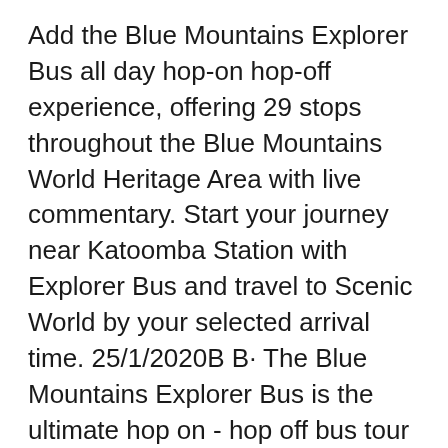Add the Blue Mountains Explorer Bus all day hop-on hop-off experience, offering 29 stops throughout the Blue Mountains World Heritage Area with live commentary. Start your journey near Katoomba Station with Explorer Bus and travel to Scenic World by your selected arrival time. 25/1/2020В В· The Blue Mountains Explorer Bus is the ultimate hop on - hop off bus tour of the Blue Mountains. With 29 stops across Katoomba and Leura we give you the freedom to explore this spectacular World Heritage wilderness on Sydney's doorstep - all at your own pace.
About Blue Mountain. ThereвЂ™s